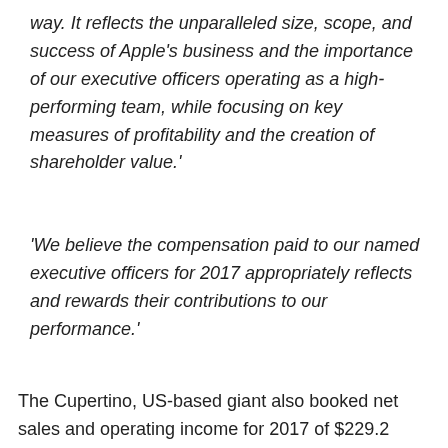way. It reflects the unparalleled size, scope, and success of Apple's business and the importance of our executive officers operating as a high-performing team, while focusing on key measures of profitability and the creation of shareholder value.'
'We believe the compensation paid to our named executive officers for 2017 appropriately reflects and rewards their contributions to our performance.'
The Cupertino, US-based giant also booked net sales and operating income for 2017 of $229.2